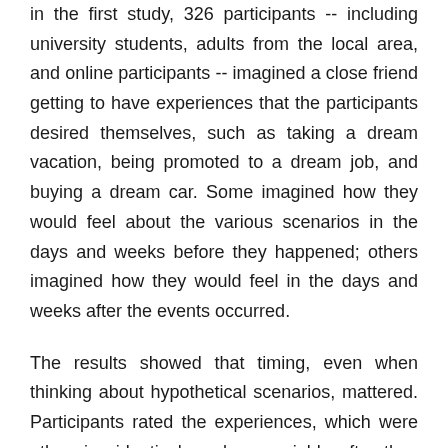in the first study, 326 participants -- including university students, adults from the local area, and online participants -- imagined a close friend getting to have experiences that the participants desired themselves, such as taking a dream vacation, being promoted to a dream job, and buying a dream car. Some imagined how they would feel about the various scenarios in the days and weeks before they happened; others imagined how they would feel in the days and weeks after the events occurred.
The results showed that timing, even when thinking about hypothetical scenarios, mattered. Participants rated the experiences, which were otherwise identical, as less enviable after they happened than before they happened.
Do people show the same pattern of responses in relation to real world events? To find out, O'Brien and coauthors